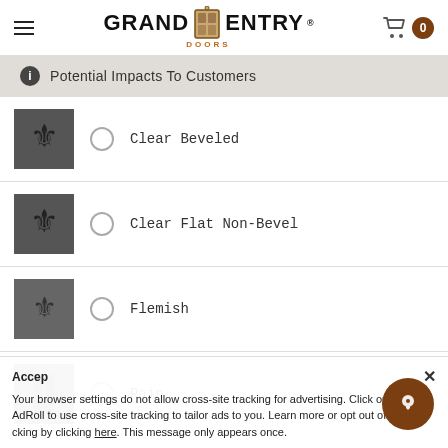Grand Entry Doors
Potential Impacts To Customers
Clear Beveled
Clear Flat Non-Bevel
Flemish
Rain
Accept
Your browser settings do not allow cross-site tracking for advertising. Click on this to allow AdRoll to use cross-site tracking to tailor ads to you. Learn more or opt out of this AdRoll tracking by clicking here. This message only appears once.